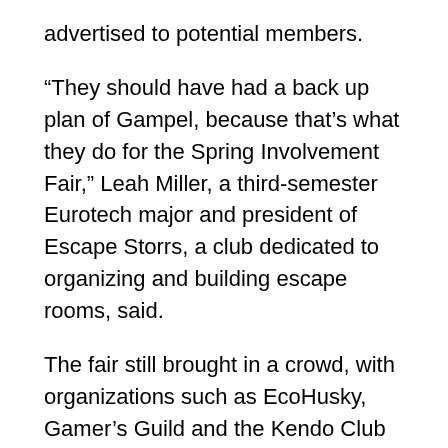advertised to potential members.
“They should have had a back up plan of Gampel, because that’s what they do for the Spring Involvement Fair,” Leah Miller, a third-semester Eurotech major and president of Escape Storrs, a club dedicated to organizing and building escape rooms, said.
The fair still brought in a crowd, with organizations such as EcoHusky, Gamer’s Guild and the Kendo Club set up with pamphlets, trifolds and candy to attract students.
“I’m surprised how big it is,” first-semester chemistry major Katelyn Mooney said. “The students are so excited about this.”
The Involvement Fair is held at the beginning of the fall and